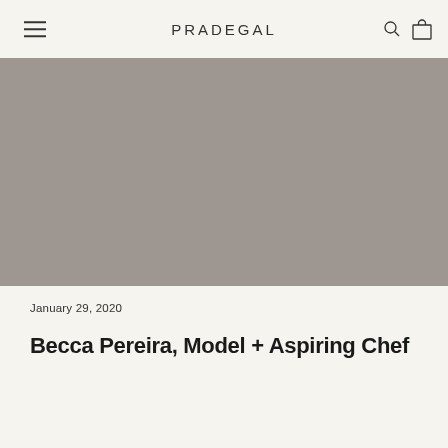PRADEGAL
[Figure (photo): Large hero image placeholder in grey/taupe tone]
January 29, 2020
Becca Pereira, Model + Aspiring Chef